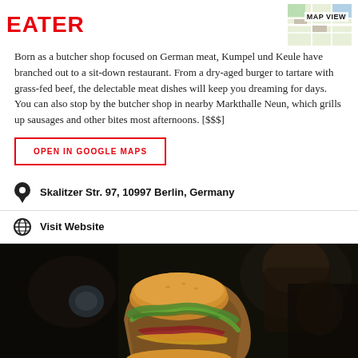EATER | MAP VIEW
Born as a butcher shop focused on German meat, Kumpel und Keule have branched out to a sit-down restaurant. From a dry-aged burger to tartare with grass-fed beef, the delectable meat dishes will keep you dreaming for days. You can also stop by the butcher shop in nearby Markthalle Neun, which grills up sausages and other bites most afternoons. [$$$]
OPEN IN GOOGLE MAPS
Skalitzer Str. 97, 10997 Berlin, Germany
Visit Website
[Figure (photo): Close-up photo of a burger wrapped in brown paper with fresh greens and meat visible, held in hands, blurred dark background with people]